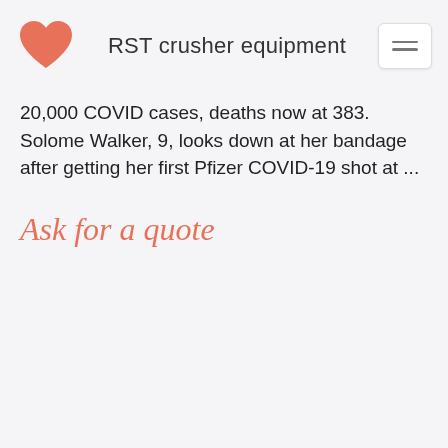RST crusher equipment
20,000 COVID cases, deaths now at 383. Solome Walker, 9, looks down at her bandage after getting her first Pfizer COVID-19 shot at ...
Ask for a quote